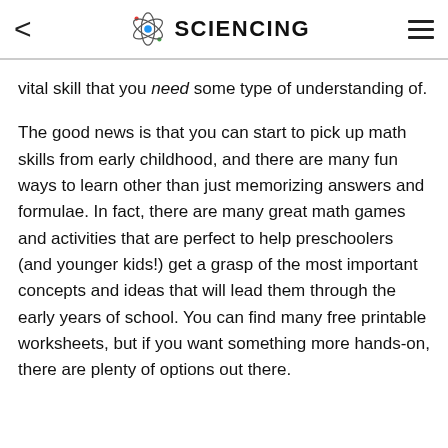SCIENCING
vital skill that you need some type of understanding of.
The good news is that you can start to pick up math skills from early childhood, and there are many fun ways to learn other than just memorizing answers and formulae. In fact, there are many great math games and activities that are perfect to help preschoolers (and younger kids!) get a grasp of the most important concepts and ideas that will lead them through the early years of school. You can find many free printable worksheets, but if you want something more hands-on, there are plenty of options out there.